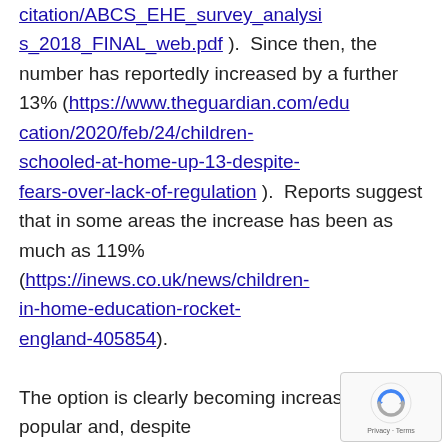citation/ABCS_EHE_survey_analysis_2018_FINAL_web.pdf ). Since then, the number has reportedly increased by a further 13% (https://www.theguardian.com/education/2020/feb/24/children-schooled-at-home-up-13-despite-fears-over-lack-of-regulation ). Reports suggest that in some areas the increase has been as much as 119% (https://inews.co.uk/news/children-in-home-education-rocket-england-405854). The option is clearly becoming increasingly popular and, despite